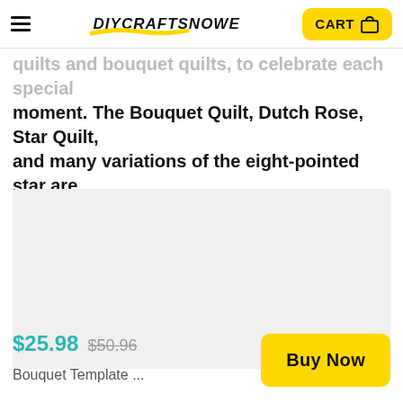DIYCRAFTSNOWE | CART
quilts and bouquet quilts, to celebrate each special moment. The Bouquet Quilt, Dutch Rose, Star Quilt, and many variations of the eight-pointed star are included.
[Figure (photo): Light gray rectangular image placeholder]
$25.98  $50.96
Bouquet Template ...
Buy Now